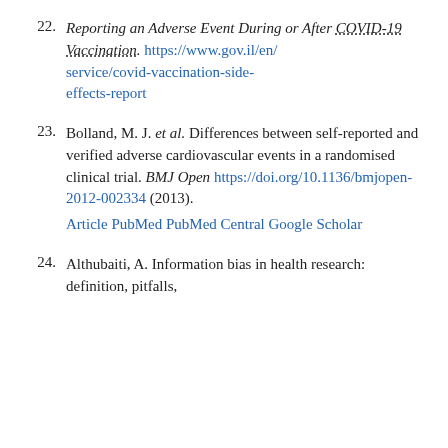22. Reporting an Adverse Event During or After COVID-19 Vaccination. https://www.gov.il/en/service/covid-vaccination-side-effects-report
23. Bolland, M. J. et al. Differences between self-reported and verified adverse cardiovascular events in a randomised clinical trial. BMJ Open https://doi.org/10.1136/bmjopen-2012-002334 (2013). Article PubMed PubMed Central Google Scholar
24. Althubaiti, A. Information bias in health research: definition, pitfalls,